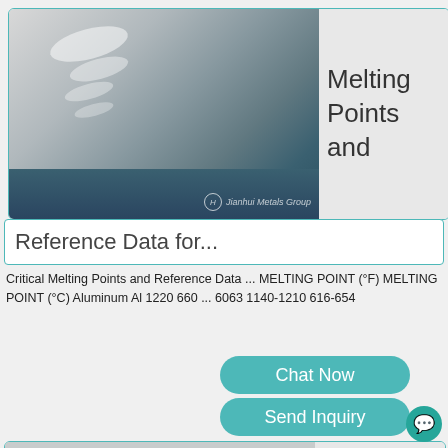[Figure (photo): Photo of a shiny aluminum metal sheet with reflections and watermark 'Jianhui Metals Group']
Melting Points and
Reference Data for...
Critical Melting Points and Reference Data ... MELTING POINT (°F) MELTING POINT (°C) Aluminum Al 1220 660 ... 6063 1140-1210 616-654
Chat Now
Send Inquiry
[Figure (photo): Photo of aluminum coils/rolls stacked together]